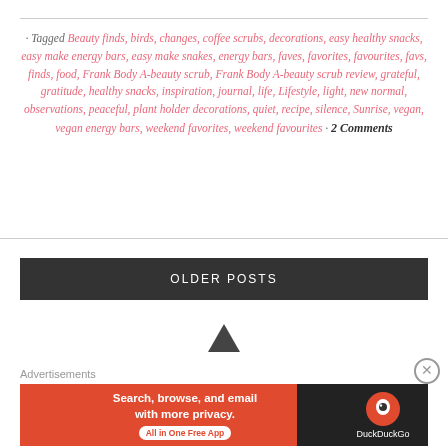· Tagged Beauty finds, birds, changes, coffee scrubs, decorations, easy healthy snacks, easy make energy bars, easy make snakes, energy bars, faves, favorites, favourites, favs, finds, food, Frank Body A-beauty scrub, Frank Body A-beauty scrub review, grateful, gratitude, healthy snacks, inspiration, journal, life, Lifestyle, light, new normal, observations, peaceful, plant holder decorations, quiet, recipe, silence, Sunrise, vegan, vegan energy bars, weekend favorites, weekend favourites · 2 Comments
OLDER POSTS
[Figure (other): Up arrow triangle navigation icon]
Advertisements
[Figure (other): DuckDuckGo advertisement banner: Search, browse, and email with more privacy. All in One Free App]